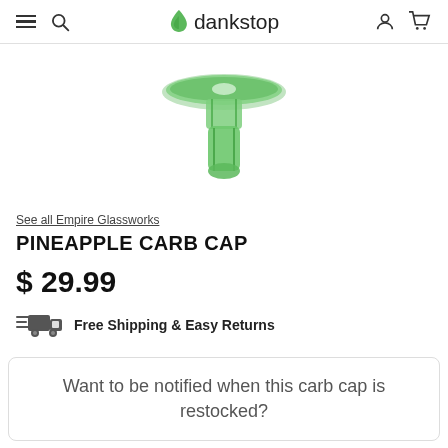dankstop
[Figure (photo): Green glass pineapple carb cap product photo on white background]
See all Empire Glassworks
PINEAPPLE CARB CAP
$ 29.99
Free Shipping & Easy Returns
Want to be notified when this carb cap is restocked?